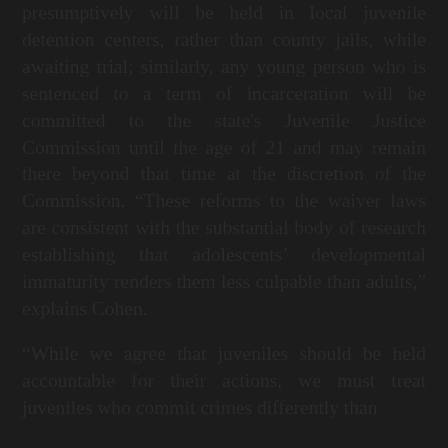presumptively will be held in local juvenile detention centers, rather than county jails, while awaiting trial; similarly, any young person who is sentenced to a term of incarceration will be committed to the state's Juvenile Justice Commission until the age of 21 and may remain there beyond that time at the discretion of the Commission. “These reforms to the waiver laws are consistent with the substantial body of research establishing that adolescents’ developmental immaturity renders them less culpable than adults,” explains Cohen.
“While we agree that juveniles should be held accountable for their actions, we must treat juveniles who commit crimes differently than